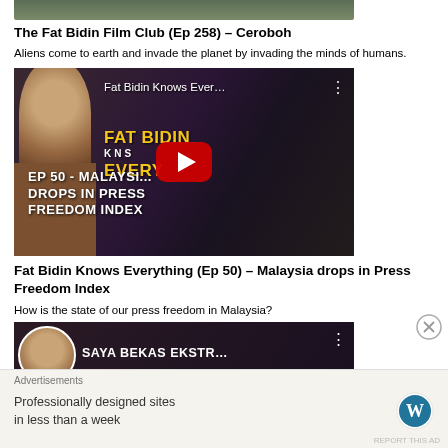[Figure (screenshot): Top portion of a video thumbnail (cropped at top of page)]
The Fat Bidin Film Club (Ep 258) – Ceroboh
Aliens come to earth and invade the planet by invading the minds of humans.
[Figure (screenshot): YouTube video thumbnail for 'Fat Bidin Knows Ever...' showing a person smiling on the left, bold 'FAT BIDIN KNOWS EVERYTHING' branding, and text 'EP 50 - MALAYSIA DROPS IN PRESS FREEDOM INDEX' with a red YouTube play button]
Fat Bidin Knows Everything (Ep 50) – Malaysia drops in Press Freedom Index
How is the state of our press freedom in Malaysia?
[Figure (screenshot): Partial YouTube thumbnail for 'SAYA BEKAS EKSTR...' with a person smiling and bold white/yellow text]
Advertisements
Professionally designed sites in less than a week